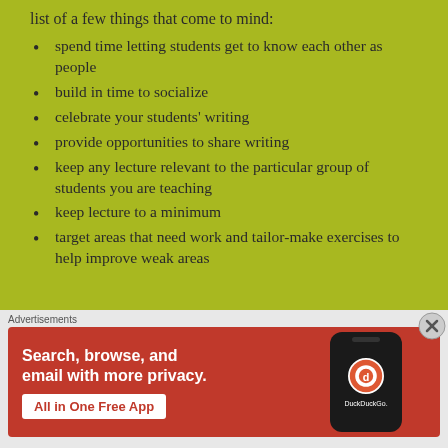list of a few things that come to mind:
spend time letting students get to know each other as people
build in time to socialize
celebrate your students' writing
provide opportunities to share writing
keep any lecture relevant to the particular group of students you are teaching
keep lecture to a minimum
target areas that need work and tailor-make exercises to help improve weak areas
[Figure (other): DuckDuckGo advertisement banner with text 'Search, browse, and email with more privacy. All in One Free App' on red background with phone mockup showing DuckDuckGo logo]